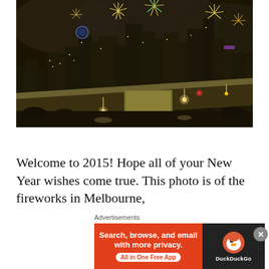[Figure (photo): Night photo of Melbourne city skyline with fireworks exploding above the buildings, with a highway overpass or elevated roadway in the foreground, city lights reflecting below.]
Welcome to 2015! Hope all of your New Year wishes come true. This photo is of the fireworks in Melbourne,
[Figure (infographic): Advertisement banner: DuckDuckGo ad with orange left panel reading 'Search, browse, and email with more privacy. All in One Free App' and dark right panel with DuckDuckGo duck logo and text 'DuckDuckGo']